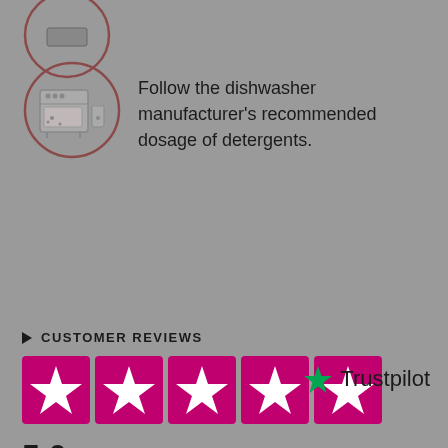[Figure (illustration): Circle icon with dishwasher and detergent bottle illustration, dark reddish border]
Follow the dishwasher manufacturer's recommended dosage of detergents.
CUSTOMER REVIEWS
[Figure (infographic): Five pink/magenta star rating boxes with white stars, and Trustpilot green star logo with text]
5.0 / 5 • 3 avis